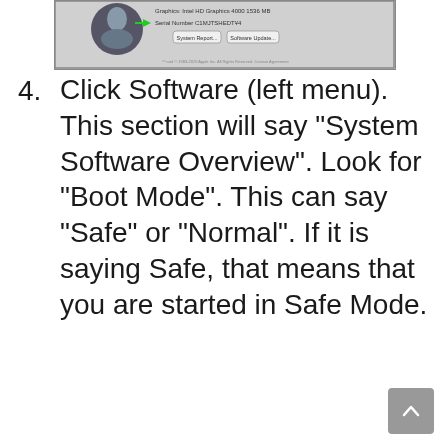[Figure (screenshot): Screenshot of macOS 'About This Mac' dialog showing system info with a green arrow pointing to Serial Number field (C1MJTSHEDT¥4), and buttons for System Report and Software Update. Apple copyright notice at bottom.]
4. Click Software (left menu). This section will say “System Software Overview”. Look for “Boot Mode”. This can say “Safe” or “Normal”. If it is saying Safe, that means that you are started in Safe Mode.